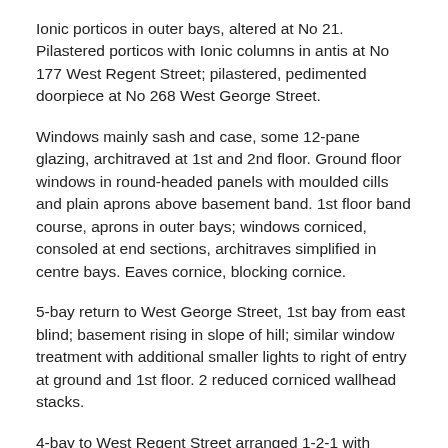Ionic porticos in outer bays, altered at No 21. Pilastered porticos with Ionic columns in antis at No 177 West Regent Street; pilastered, pedimented doorpiece at No 268 West George Street.
Windows mainly sash and case, some 12-pane glazing, architraved at 1st and 2nd floor. Ground floor windows in round-headed panels with moulded cills and plain aprons above basement band. 1st floor band course, aprons in outer bays; windows corniced, consoled at end sections, architraves simplified in centre bays. Eaves cornice, blocking cornice.
5-bay return to West George Street, 1st bay from east blind; basement rising in slope of hill; similar window treatment with additional smaller lights to right of entry at ground and 1st floor. 2 reduced corniced wallhead stacks.
4-bay to West Regent Street arranged 1-2-1 with similar window detailing. Later dormered attic.